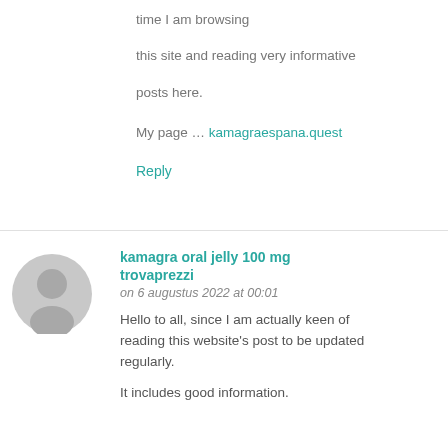time I am browsing this site and reading very informative posts here.
My page … kamagraespana.quest
Reply
kamagra oral jelly 100 mg trovaprezzi on 6 augustus 2022 at 00:01
Hello to all, since I am actually keen of reading this website's post to be updated regularly.
It includes good information.